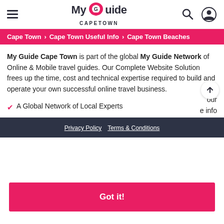My Guide Cape Town
Cape Town > Cape Town Useful Info > Cape Town Beaches
My Guide Cape Town is part of the global My Guide Network of Online & Mobile travel guides. Our Complete Website Solution frees up the time, cost and technical expertise required to build and operate your own successful online travel business.
A Global Network of Local Experts
This website uses cookies to ensure you get the best experience on our website.
Learn more
Got it!
Privacy Policy  Terms & Conditions